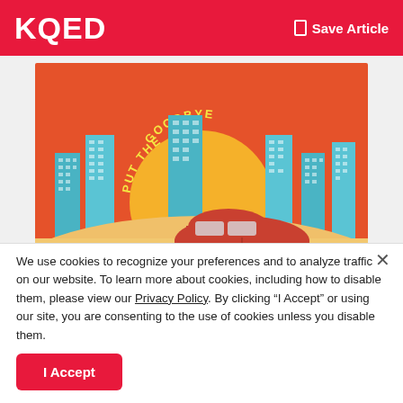KQED  Save Article
[Figure (illustration): Advertisement illustration showing a cartoon city skyline with teal/blue buildings against an orange sunset background. A red car is parked in front. Text reads 'PUT THE ... GOODBYE' in curved text at top. Lower section has orange/tan background with text 'Say goodbye to your four wheels and donate it to your favorite station!' and a red button 'Give Today'.]
We use cookies to recognize your preferences and to analyze traffic on our website. To learn more about cookies, including how to disable them, please view our Privacy Policy. By clicking “I Accept” or using our site, you are consenting to the use of cookies unless you disable them.
I Accept